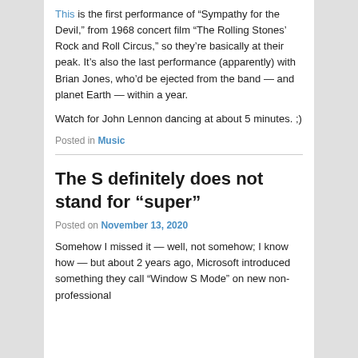This is the first performance of “Sympathy for the Devil,” from 1968 concert film “The Rolling Stones’ Rock and Roll Circus,” so they’re basically at their peak. It’s also the last performance (apparently) with Brian Jones, who’d be ejected from the band — and planet Earth — within a year.
Watch for John Lennon dancing at about 5 minutes. ;)
Posted in Music
The S definitely does not stand for “super”
Posted on November 13, 2020
Somehow I missed it — well, not somehow; I know how — but about 2 years ago, Microsoft introduced something they call “Window S Mode” on new non-professional